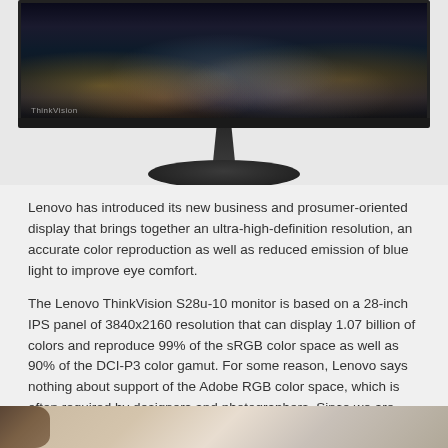[Figure (photo): Lenovo ThinkVision S28u-10 monitor showing a night cityscape on screen, with a thin bezel, central neck stand, and oval base. The monitor is shown against a light gray background.]
Lenovo has introduced its new business and prosumer-oriented display that brings together an ultra-high-definition resolution, an accurate color reproduction as well as reduced emission of blue light to improve eye comfort.
The Lenovo ThinkVision S28u-10 monitor is based on a 28-inch IPS panel of 3840x2160 resolution that can display 1.07 billion of colors and reproduce 99% of the sRGB color space as well as 90% of the DCI-P3 color gamut. For some reason, Lenovo says nothing about support of the Adobe RGB color space, which is often required by designers and photographers. Since we are dealing with an IPS display, it is reasonable to expect it to feature all known IPS peculiarities.
[Figure (photo): Partial view of another image at the bottom of the page, showing what appears to be a figure or person against a textured background.]